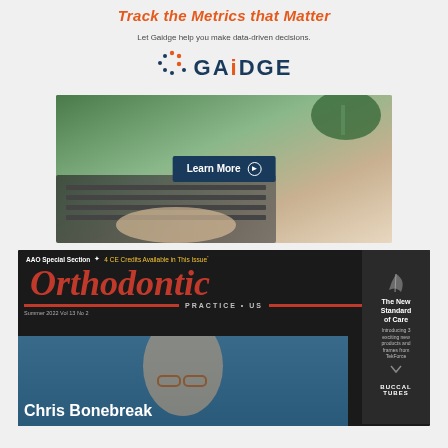Track the Metrics that Matter
Let Gaidge help you make data-driven decisions.
[Figure (logo): GAiDGE logo with dot matrix icon]
[Figure (photo): Person typing on laptop with Learn More button overlay]
[Figure (photo): Orthodontic Practice US magazine cover, Summer 2022 Vol 13 No 2, AAO Special Section, 4 CE Credits Available in This Issue, featuring Chris Bonebreak, The New Standard of Care sidebar, Buccal Tubes product]
Chris Bonebreak